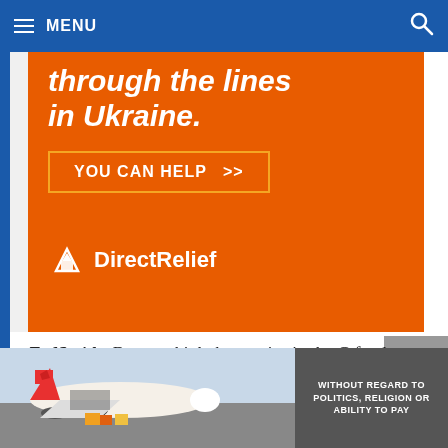MENU
[Figure (screenshot): Orange advertisement banner for DirectRelief charity, showing text 'through the lines in Ukraine.' with 'YOU CAN HELP >>' button and DirectRelief logo]
FedSmith: Do you think the monies in the G fund are secure given the
[Figure (photo): Bottom advertisement banner showing cargo plane being loaded, with text 'WITHOUT REGARD TO POLITICS, RELIGION OR ABILITY TO PAY']